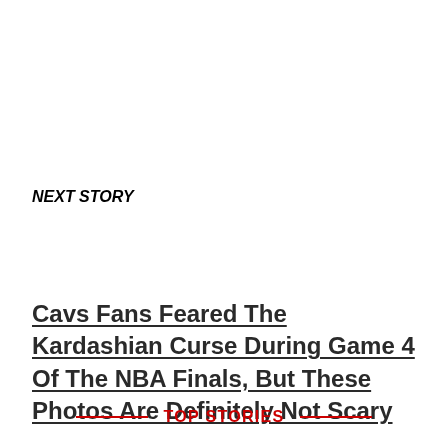NEXT STORY
Cavs Fans Feared The Kardashian Curse During Game 4 Of The NBA Finals, But These Photos Are Definitely Not Scary
TOP STORIES